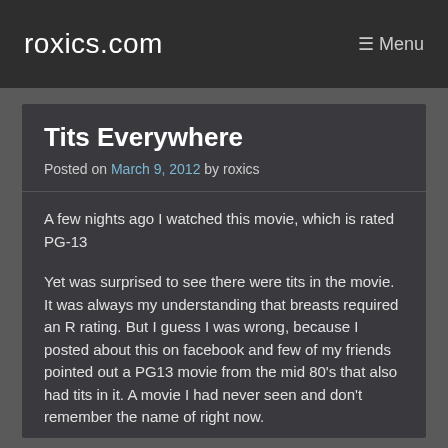roxics.com   ☰ Menu
Tits Everywhere
Posted on March 9, 2012 by roxics
A few nights ago I watched this movie, which is rated PG-13
Yet was surprised to see there were tits in the movie. It was always my understanding that breasts required an R rating. But I guess I was wrong, because I posted about this on facebook and few of my friends pointed out a PG13 movie from the mid 80's that also had tits in it. A movie I had never seen and don't remember the name of right now.
Then, just now I clicked on a preview for a new Starz show which sent me to youtube.